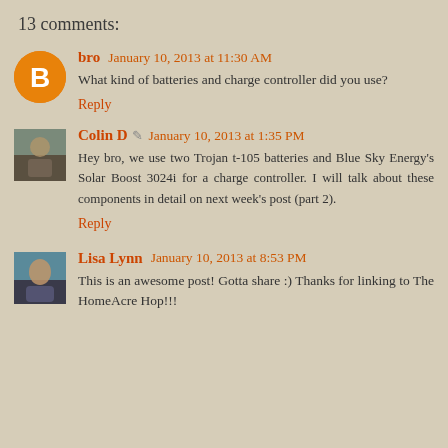13 comments:
bro January 10, 2013 at 11:30 AM
What kind of batteries and charge controller did you use?
Reply
Colin D [edit] January 10, 2013 at 1:35 PM
Hey bro, we use two Trojan t-105 batteries and Blue Sky Energy's Solar Boost 3024i for a charge controller. I will talk about these components in detail on next week's post (part 2).
Reply
Lisa Lynn January 10, 2013 at 8:53 PM
This is an awesome post! Gotta share :) Thanks for linking to The HomeAcre Hop!!!